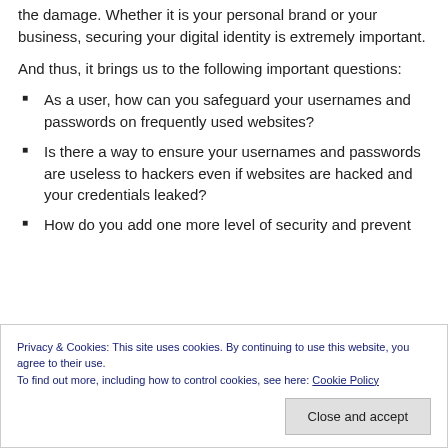the damage. Whether it is your personal brand or your business, securing your digital identity is extremely important.
And thus, it brings us to the following important questions:
As a user, how can you safeguard your usernames and passwords on frequently used websites?
Is there a way to ensure your usernames and passwords are useless to hackers even if websites are hacked and your credentials leaked?
How do you add one more level of security and prevent
Privacy & Cookies: This site uses cookies. By continuing to use this website, you agree to their use.
To find out more, including how to control cookies, see here: Cookie Policy